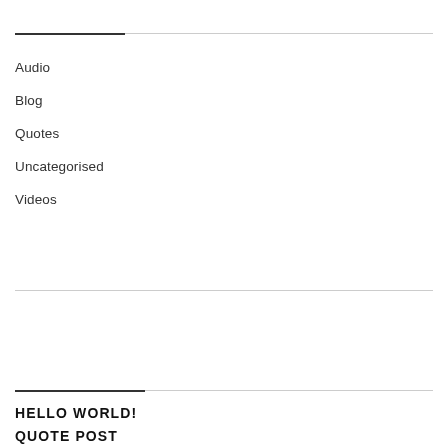Audio
Blog
Quotes
Uncategorised
Videos
HELLO WORLD!
QUOTE POST